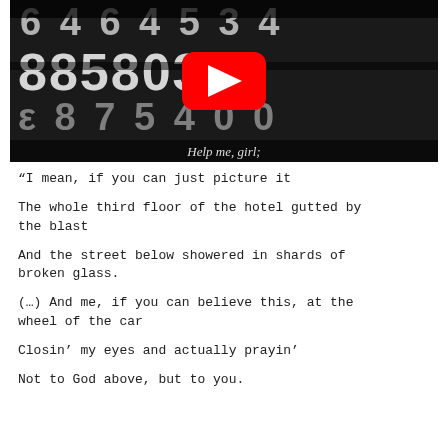[Figure (screenshot): YouTube video thumbnail showing distorted black and white numbers/digits with text 'Help me, girl;' overlaid at the bottom, and a red YouTube play button in the center.]
“I mean, if you can just picture it

The whole third floor of the hotel gutted by the blast

And the street below showered in shards of broken glass.

(…) And me, if you can believe this, at the wheel of the car

Closin’ my eyes and actually prayin’

Not to God above, but to you.